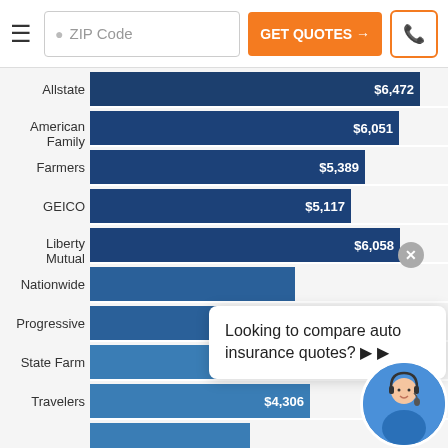[Figure (screenshot): Website header with hamburger menu, ZIP code input, GET QUOTES button, and phone icon button]
[Figure (bar-chart): Auto insurance rates by company]
Looking to compare auto insurance quotes? ▶ ▶